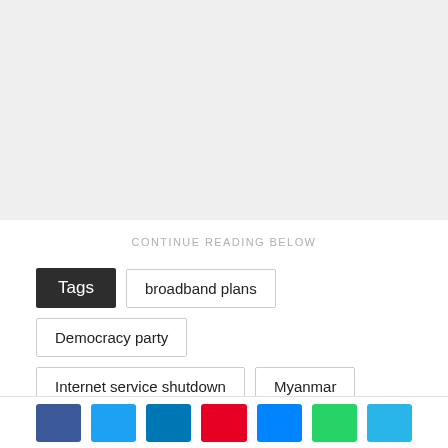[Figure (other): Gray placeholder/advertisement area at the top of the page]
CONTINUE READING BELOW
Tags
broadband plans
Democracy party
Internet service shutdown
Myanmar
Myanmar military
NetBlocks
[Figure (other): Social media share buttons bar at the bottom: Facebook, Twitter, LinkedIn, Pinterest, Messenger, WhatsApp, and another button]